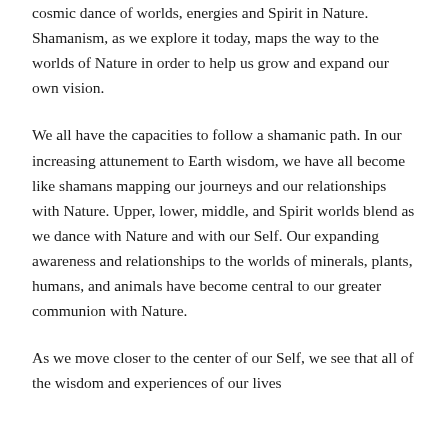cosmic dance of worlds, energies and Spirit in Nature. Shamanism, as we explore it today, maps the way to the worlds of Nature in order to help us grow and expand our own vision.
We all have the capacities to follow a shamanic path. In our increasing attunement to Earth wisdom, we have all become like shamans mapping our journeys and our relationships with Nature. Upper, lower, middle, and Spirit worlds blend as we dance with Nature and with our Self. Our expanding awareness and relationships to the worlds of minerals, plants, humans, and animals have become central to our greater communion with Nature.
As we move closer to the center of our Self, we see that all of the wisdom and experiences of our lives